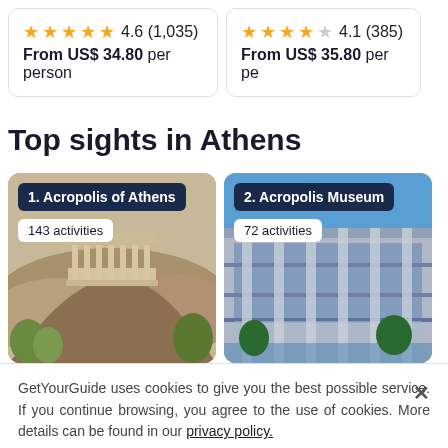4.6 (1,035) From US$ 34.80 per person
4.1 (385) From US$ 35.80 per pe...
Top sights in Athens
[Figure (photo): Acropolis of Athens with 143 activities badge]
[Figure (photo): Acropolis Museum with 72 activities badge]
GetYourGuide uses cookies to give you the best possible service. If you continue browsing, you agree to the use of cookies. More details can be found in our privacy policy.